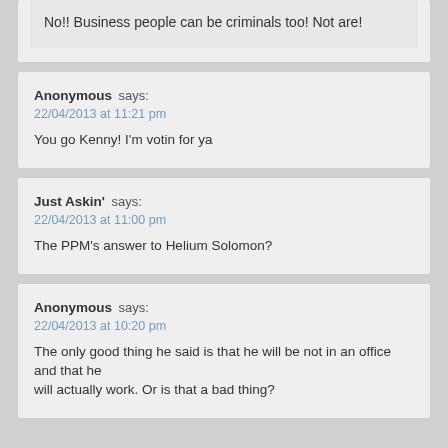No!! Business people can be criminals too!  Not are!
Anonymous says:
22/04/2013 at 11:21 pm
You go Kenny!  I'm votin for ya
Just Askin' says:
22/04/2013 at 11:00 pm
The PPM's answer to Helium Solomon?
Anonymous says:
22/04/2013 at 10:20 pm
The only good thing he said is that he will be not in an office and that he will actually work. Or is that a bad thing?